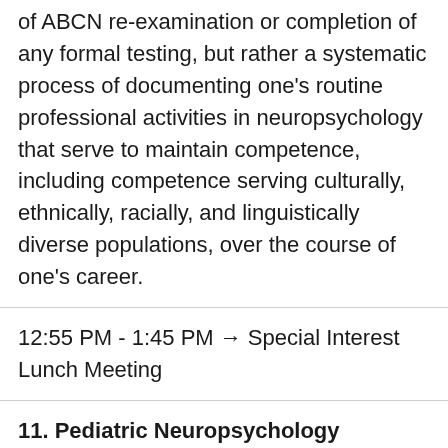of ABCN re-examination or completion of any formal testing, but rather a systematic process of documenting one's routine professional activities in neuropsychology that serve to maintain competence, including competence serving culturally, ethnically, racially, and linguistically diverse populations, over the course of one's career.
12:55 PM - 1:45 PM → Special Interest Lunch Meeting
11. Pediatric Neuropsychology Subspecialty Interest Group Featuring Current Topics in Pediatric Neuropsychology
2:00 PM - 5:00 PM → CE Workshops (3 CE